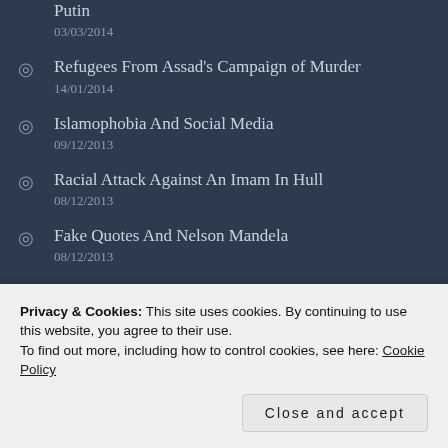Putin
03/03/2014
Refugees From Assad's Campaign of Murder
14/01/2014
Islamophobia And Social Media
09/12/2013
Racial Attack Against An Imam In Hull
08/12/2013
Fake Quotes And Nelson Mandela
08/12/2013
Madiba
06/12/2013
Privacy & Cookies: This site uses cookies. By continuing to use this website, you agree to their use.
To find out more, including how to control cookies, see here: Cookie Policy
Close and accept